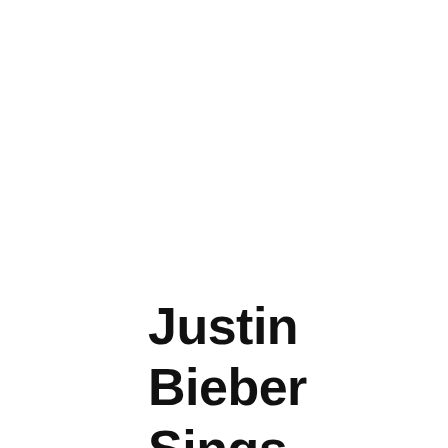Justin Bieber Sings Christian Worship Song